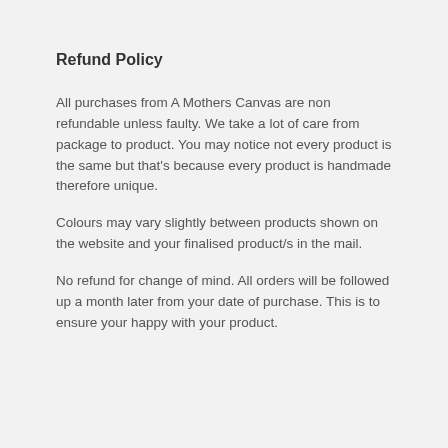Refund Policy
All purchases from A Mothers Canvas are non refundable unless faulty. We take a lot of care from package to product. You may notice not every product is the same but that's because every product is handmade therefore unique.
Colours may vary slightly between products shown on the website and your finalised product/s in the mail.
No refund for change of mind. All orders will be followed up a month later from your date of purchase. This is to ensure your happy with your product.